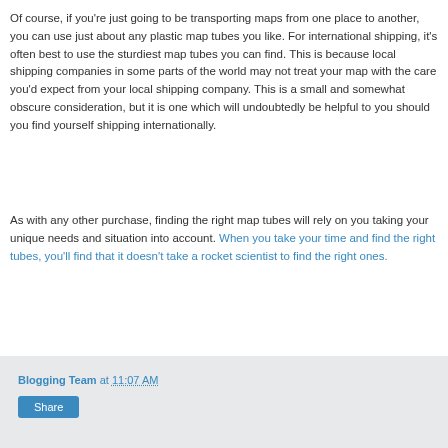Of course, if you're just going to be transporting maps from one place to another, you can use just about any plastic map tubes you like. For international shipping, it's often best to use the sturdiest map tubes you can find. This is because local shipping companies in some parts of the world may not treat your map with the care you'd expect from your local shipping company. This is a small and somewhat obscure consideration, but it is one which will undoubtedly be helpful to you should you find yourself shipping internationally.
As with any other purchase, finding the right map tubes will rely on you taking your unique needs and situation into account. When you take your time and find the right tubes, you'll find that it doesn't take a rocket scientist to find the right ones.
Blogging Team at 11:07 AM